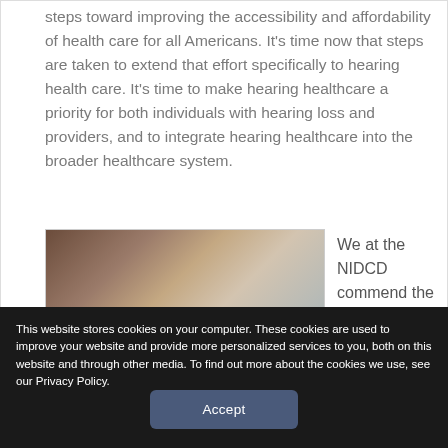steps toward improving the accessibility and affordability of health care for all Americans. It's time now that steps are taken to extend that effort specifically to hearing health care. It's time to make hearing healthcare a priority for both individuals with hearing loss and providers, and to integrate hearing healthcare into the broader healthcare system.
[Figure (photo): Photo of a person (partial face, grey hair) next to partial text reading 'We at the NIDCD commend the']
We at the NIDCD commend the
This website stores cookies on your computer. These cookies are used to improve your website and provide more personalized services to you, both on this website and through other media. To find out more about the cookies we use, see our Privacy Policy.
Accept